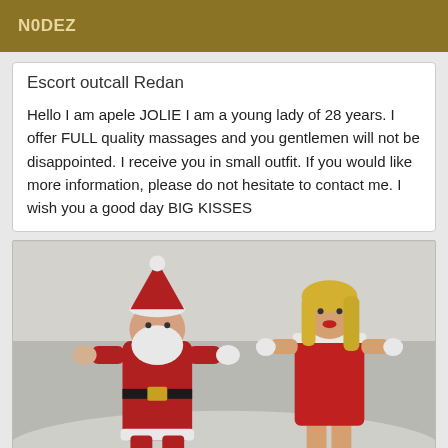N0DEZ
Escort outcall Redan
Hello I am apele JOLIE I am a young lady of 28 years. I offer FULL quality massages and you gentlemen will not be disappointed. I receive you in small outfit. If you would like more information, please do not hesitate to contact me. I wish you a good day BIG KISSES
[Figure (photo): Photo of a person dressed as Santa Claus with a blonde woman in red outfit in a snowy outdoor setting]